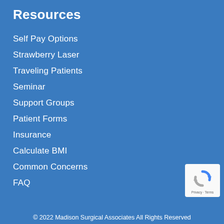Resources
Self Pay Options
Strawberry Laser
Traveling Patients
Seminar
Support Groups
Patient Forms
Insurance
Calculate BMI
Common Concerns
FAQ
[Figure (logo): reCAPTCHA badge with Privacy and Terms links]
© 2022 Madison Surgical Associates All Rights Reserved